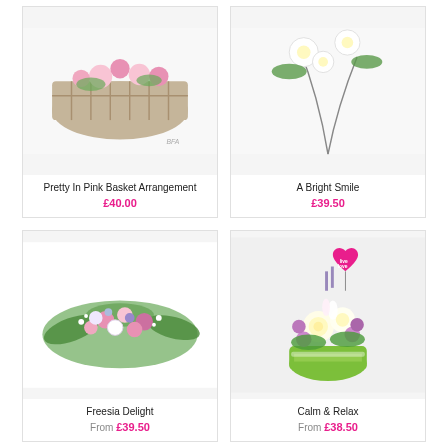[Figure (photo): Pretty In Pink Basket Arrangement - wicker basket with pink flowers, partial view showing top of basket]
Pretty In Pink Basket Arrangement
£40.00
[Figure (photo): A Bright Smile - floral arrangement, partial view showing white flowers and greenery]
A Bright Smile
£39.50
[Figure (photo): Freesia Delight - low oval arrangement with pink, purple and white flowers with greenery on white background]
Freesia Delight
From £39.50
[Figure (photo): Calm & Relax - white and purple roses in a green striped vase with a heart-shaped 'live love' balloon pick]
Calm & Relax
From £38.50